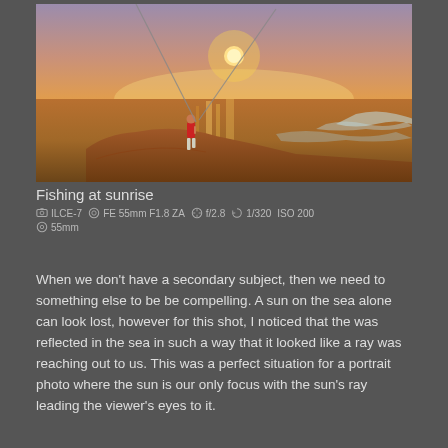[Figure (photo): A fisherman standing on a rocky coastal cliff holding two fishing rods against a dramatic orange and golden sunrise over the sea. Waves are visible in the background.]
Fishing at sunrise
ILCE-7   FE 55mm F1.8 ZA   f/2.8   1/320   ISO 200   55mm
When we don’t have a secondary subject, then we need to something else to be be compelling. A sun on the sea alone can look lost, however for this shot, I noticed that the was reflected in the sea in such a way that it looked like a ray was reaching out to us. This was a perfect situation for a portrait photo where the sun is our only focus with the sun’s ray leading the viewer’s eyes to it.